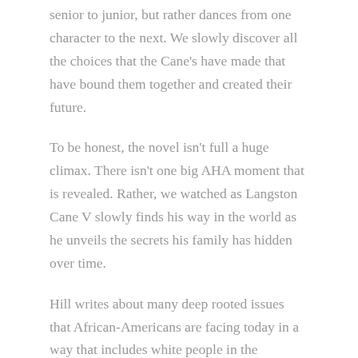senior to junior, but rather dances from one character to the next. We slowly discover all the choices that the Cane's have made that have bound them together and created their future.
To be honest, the novel isn't full a huge climax. There isn't one big AHA moment that is revealed. Rather, we watched as Langston Cane V slowly finds his way in the world as he unveils the secrets his family has hidden over time.
Hill writes about many deep rooted issues that African-Americans are facing today in a way that includes white people in the dialogue but in a non-accusatory manner. I assume this is partially Hill speaking from his own experience of being a mixed race. Either way, it was enlightening to read and understand why or how people feel